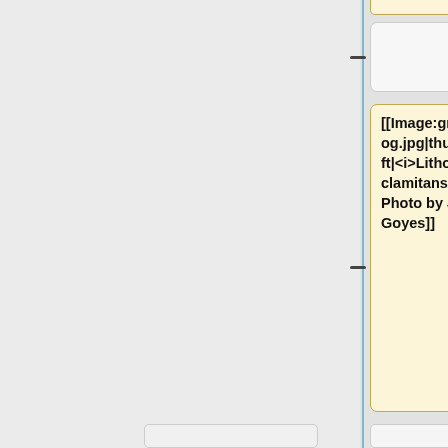[[Image:greenfrog.jpg|thumb|left|<i>Lithobates clamitans.</i> Photo by J. Goyes]]
March 18, 2013: [http://m.smh.com.au/environment/animals/extinct-frog-hops-back-into-the-gene-pool-20130315-2g68x.html Extinct frog hops back into the gene pool]